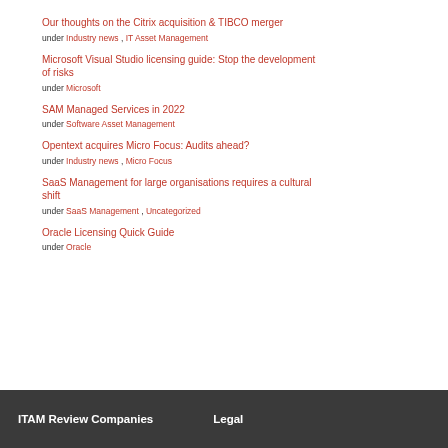Our thoughts on the Citrix acquisition & TIBCO merger
under Industry news , IT Asset Management
Microsoft Visual Studio licensing guide: Stop the development of risks
under Microsoft
SAM Managed Services in 2022
under Software Asset Management
Opentext acquires Micro Focus: Audits ahead?
under Industry news , Micro Focus
SaaS Management for large organisations requires a cultural shift
under SaaS Management , Uncategorized
Oracle Licensing Quick Guide
under Oracle
ITAM Review Companies    Legal